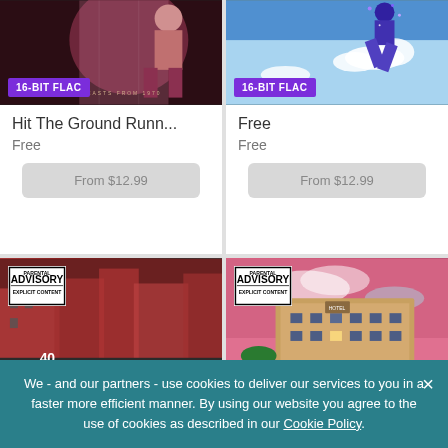[Figure (photo): Album cover with dark reddish tones, person figure, text 'BROADCASTS FROM 1970', with 16-BIT FLAC badge]
Hit The Ground Runn...
Free
From $12.99
[Figure (photo): Album cover with blue sky, galaxy-style figure jumping, with 16-BIT FLAC badge]
Free
Free
From $12.99
[Figure (photo): Album cover showing police scene on urban street with Parental Advisory Explicit Content label]
[Figure (photo): Album cover showing hotel building at night with pink sky, Parental Advisory Explicit Content label]
We - and our partners - use cookies to deliver our services to you in a faster more efficient manner. By using our website you agree to the use of cookies as described in our Cookie Policy.